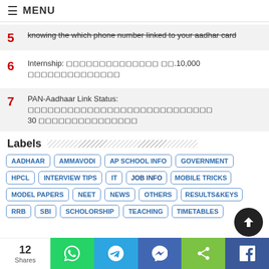MENU
5  knowing the which phone number linked to your aadhar card
6  Internship: ▯▯▯▯▯▯▯▯▯▯▯▯▯▯ ▯▯.10,000 ▯▯▯▯▯▯▯▯▯▯▯▯▯▯
7  PAN-Aadhaar Link Status: ▯▯▯▯▯▯▯▯▯▯▯▯▯▯▯▯▯▯▯▯▯▯▯▯▯▯▯▯ 30 ▯▯▯▯▯▯▯▯▯▯▯▯▯▯▯
Labels
AADHAAR
AMMAVODI
AP SCHOOL INFO
GOVERNMENT
HPCL
INTERVIEW TIPS
IT
JOB INFO
MOBILE TRICKS
MODEL PAPERS
NEET
NEWS
OTHERS
RESULTS&KEYS
RRB
SBI
SCHOLORSHIP
TEACHING
TIMETABLES
12 Shares